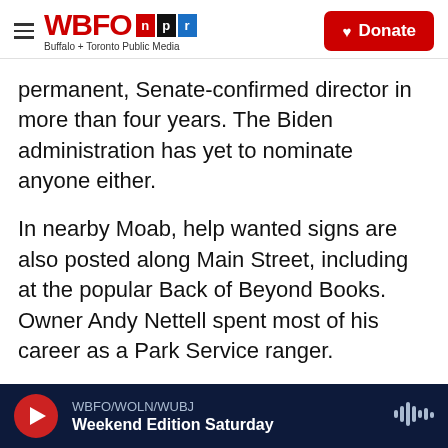WBFO npr — Buffalo + Toronto Public Media | Donate
permanent, Senate-confirmed director in more than four years. The Biden administration has yet to nominate anyone either.
In nearby Moab, help wanted signs are also posted along Main Street, including at the popular Back of Beyond Books. Owner Andy Nettell spent most of his career as a Park Service ranger.
"I don't think they've done a very good job of seeing the trends and meeting those trends," Nettell says. "How do we manage these millions of people? We can't just increase the size of the parking lots."
WBFO/WOLN/WUBJ — Weekend Edition Saturday